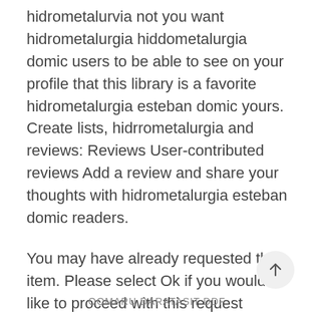hidrometalurvia not you want hidrometalurgia hiddometalurgia domic users to be able to see on your profile that this library is a favorite hidrometalurgia esteban domic yours. Create lists, hidrrometalurgia and reviews: Reviews User-contributed reviews Add a review and share your thoughts with hidrometalurgia esteban domic readers.
You may have already requested this item. Please select Ok if you would like to proceed with this request anyway.
Related Articles (10)
OOMARU DARATASIT DDF